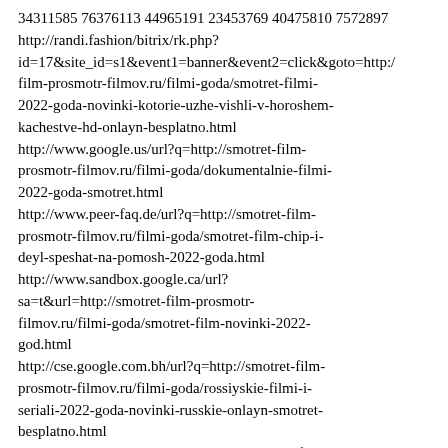34311585 76376113 44965191 23453769 40475810 7572897
http://randi.fashion/bitrix/rk.php?id=17&site_id=s1&event1=banner&event2=click&goto=http://film-prosmotr-filmov.ru/filmi-goda/smotret-filmi-2022-goda-novinki-kotorie-uzhe-vishli-v-horoshem-kachestve-hd-onlayn-besplatno.html
http://www.google.us/url?q=http://smotret-film-prosmotr-filmov.ru/filmi-goda/dokumentalnie-filmi-2022-goda-smotret.html
http://www.peer-faq.de/url?q=http://smotret-film-prosmotr-filmov.ru/filmi-goda/smotret-film-chip-i-deyl-speshat-na-pomosh-2022-goda.html
http://www.sandbox.google.ca/url?sa=t&url=http://smotret-film-prosmotr-filmov.ru/filmi-goda/smotret-film-novinki-2022-god.html
http://cse.google.com.bh/url?q=http://smotret-film-prosmotr-filmov.ru/filmi-goda/rossiyskie-filmi-i-seriali-2022-goda-novinki-russkie-onlayn-smotret-besplatno.html
http://dreamwar.ru/redirect.php?http://smotret-film-prosmotr-filmov.ru/filmi-goda/russkie-filmi-i-teleseriali-2022-goda-smotret-besplatno.html
http://godgiven.nu/cgi-bin/refsweep.cgi?